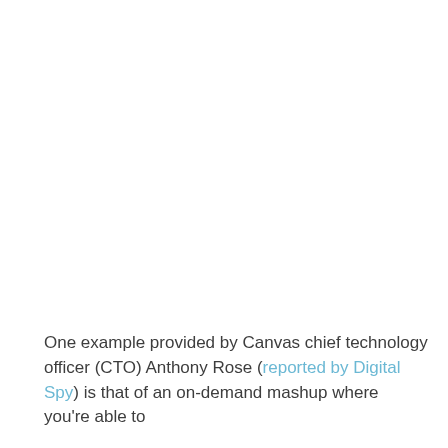One example provided by Canvas chief technology officer (CTO) Anthony Rose (reported by Digital Spy) is that of an on-demand mashup where you're able to